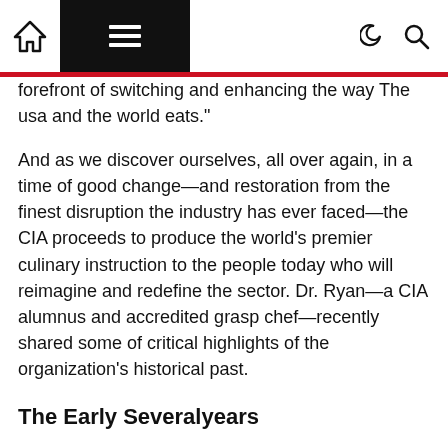Home | Menu | Dark mode | Search
forefront of switching and enhancing the way The usa and the world eats."
And as we discover ourselves, all over again, in a time of good change—and restoration from the finest disruption the industry has ever faced—the CIA proceeds to produce the world's premier culinary instruction to the people today who will reimagine and redefine the sector. Dr. Ryan—a CIA alumnus and accredited grasp chef—recently shared some of critical highlights of the organization's historical past.
The Early Severalyears
On Might 22, 1946, Frances Roth and the New Haven Cafe Affiliation, led by Charles Rovotti and